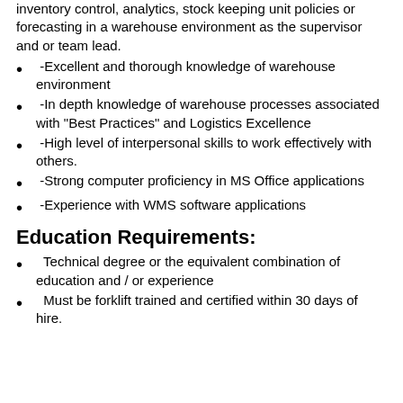inventory control, analytics, stock keeping unit policies or forecasting in a warehouse environment as the supervisor and or team lead.
-Excellent and thorough knowledge of warehouse environment
-In depth knowledge of warehouse processes associated with "Best Practices" and Logistics Excellence
-High level of interpersonal skills to work effectively with others.
-Strong computer proficiency in MS Office applications
-Experience with WMS software applications
Education Requirements:
Technical degree or the equivalent combination of education and / or experience
Must be forklift trained and certified within 30 days of hire.